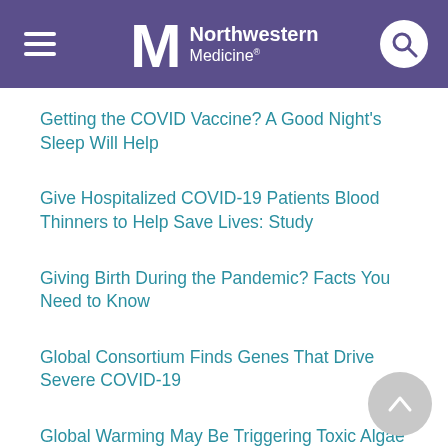Northwestern Medicine
Getting the COVID Vaccine? A Good Night's Sleep Will Help
Give Hospitalized COVID-19 Patients Blood Thinners to Help Save Lives: Study
Giving Birth During the Pandemic? Facts You Need to Know
Global Consortium Finds Genes That Drive Severe COVID-19
Global Warming May Be Triggering Toxic Algae Blooms Along U.S. West Coast
Going Easy on Yourself Is Key to Parenting Through the Pandemic
Good Sense of Direction? Where You Grew Up Is Key